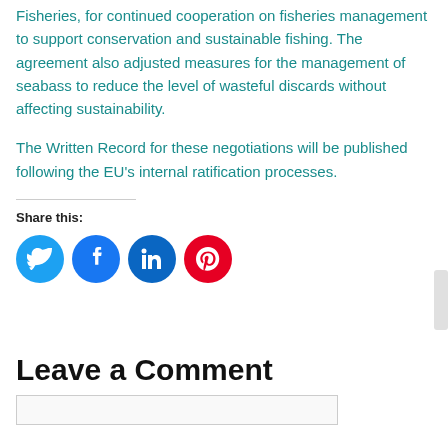Fisheries, for continued cooperation on fisheries management to support conservation and sustainable fishing. The agreement also adjusted measures for the management of seabass to reduce the level of wasteful discards without affecting sustainability.
The Written Record for these negotiations will be published following the EU’s internal ratification processes.
[Figure (infographic): Share this: social media icon buttons for Twitter (cyan), Facebook (blue), LinkedIn (dark blue), Pinterest (red)]
Leave a Comment